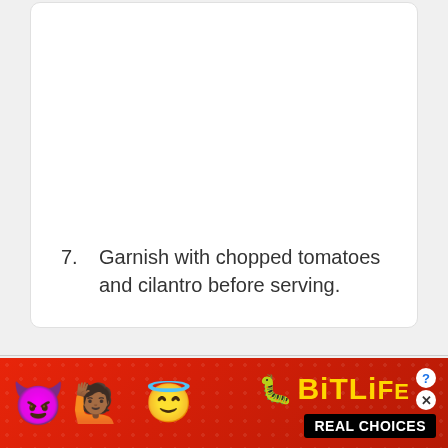7. Garnish with chopped tomatoes and cilantro before serving.
[Figure (other): BitLife mobile game advertisement banner with red background, emoji characters (devil, person with raised arms, angel face), sperm emoji, BitLife logo in yellow text, question mark and X badges, and 'REAL CHOICES' text on black background]